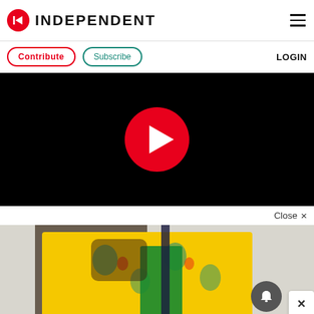INDEPENDENT
Contribute  Subscribe  LOGIN
[Figure (screenshot): Video player with black background and large red circular play button in the center]
Close ×
[Figure (photo): Person wearing a yellow tropical-print shirt holding a green item, shown from shoulders down, with a notification bell icon and close X button overlaid]